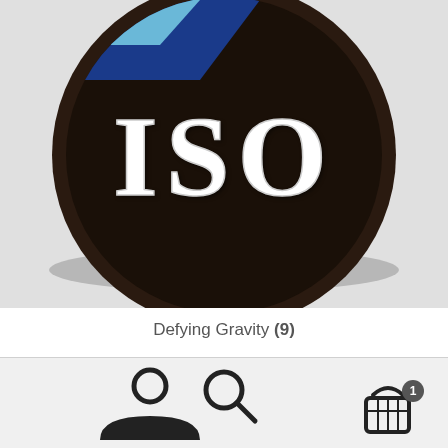[Figure (photo): A circular embroidered patch on a dark (black/dark brown) background with the text 'ISO' in large white serif letters. A diagonal stripe in blue and light blue/teal runs across the top-left portion of the patch. The patch has a textured fabric appearance.]
Defying Gravity (9)
[Figure (photo): Partial view of a second product item showing a triangular/chevron shaped emblem with gold/yellow and blue colors, partially visible at the bottom of the scroll area.]
[Figure (illustration): Bottom navigation bar with three icons: a person/user icon on the left, a magnifying glass/search icon in the center, and a shopping basket/cart icon with a badge showing the number 1 on the right.]